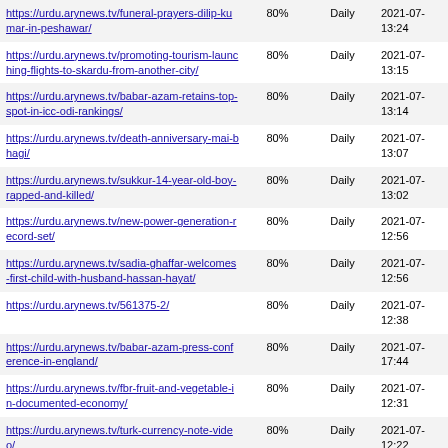| URL | Priority | Frequency | Last Modified |
| --- | --- | --- | --- |
| https://urdu.arynews.tv/funeral-prayers-dilip-kumar-in-peshawar/ | 80% | Daily | 2021-07- 13:24 |
| https://urdu.arynews.tv/promoting-tourism-launching-flights-to-skardu-from-another-city/ | 80% | Daily | 2021-07- 13:15 |
| https://urdu.arynews.tv/babar-azam-retains-top-spot-in-icc-odi-rankings/ | 80% | Daily | 2021-07- 13:14 |
| https://urdu.arynews.tv/death-anniversary-mai-bhagi/ | 80% | Daily | 2021-07- 13:07 |
| https://urdu.arynews.tv/sukkur-14-year-old-boy-rapped-and-killed/ | 80% | Daily | 2021-07- 13:02 |
| https://urdu.arynews.tv/new-power-generation-record-set/ | 80% | Daily | 2021-07- 12:56 |
| https://urdu.arynews.tv/sadia-ghaffar-welcomes-first-child-with-husband-hassan-hayat/ | 80% | Daily | 2021-07- 12:56 |
| https://urdu.arynews.tv/561375-2/ | 80% | Daily | 2021-07- 12:38 |
| https://urdu.arynews.tv/babar-azam-press-conference-in-england/ | 80% | Daily | 2021-07- 17:44 |
| https://urdu.arynews.tv/fbr-fruit-and-vegetable-in-documented-economy/ | 80% | Daily | 2021-07- 12:31 |
| https://urdu.arynews.tv/turk-currency-note-video/ | 80% | Daily | 2021-07- 12:22 |
| https://urdu.arynews.tv/bilawal-criticizie-pml-n/ | 80% | Daily | 2021-07- 12:08 |
| https://urdu.arynews.tv/air-arabia-flights-for-faisalabad-multan/ | 80% | Daily | 2021-07- 12:01 |